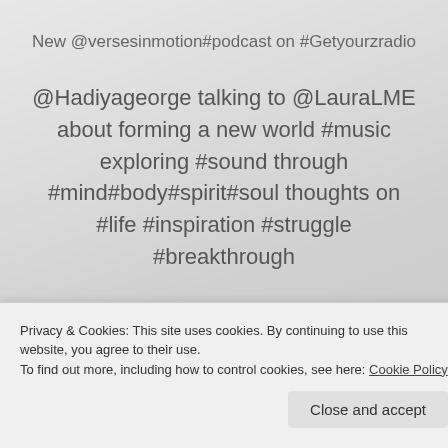New @versesinmotion#podcast on #Getyourzradio
@Hadiyageorge talking to @LauraLME about forming a new world #music exploring #sound through #mind#body#spirit#soul thoughts on #life #inspiration #struggle #breakthrough
Privacy & Cookies: This site uses cookies. By continuing to use this website, you agree to their use.
To find out more, including how to control cookies, see here: Cookie Policy
Close and accept